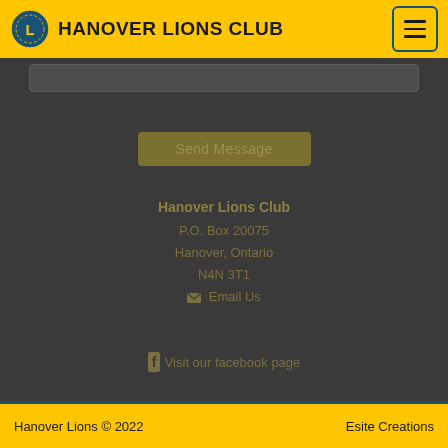HANOVER LIONS CLUB
[Figure (screenshot): Textarea input box (partially visible at top of dark section)]
Send Message
Hanover Lions Club
P.O. Box 20075
Hanover, Ontario
N4N 3T1
Email Us
Visit our facebook page
Hanover Lions © 2022   Esite Creations